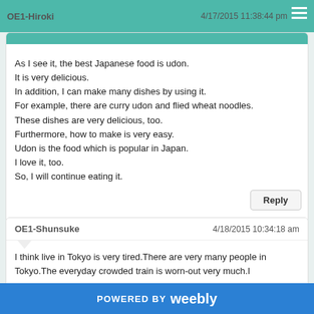OE1-Hiroki   4/17/2015 11:38:44 pm
As I see it, the best Japanese food is udon.
It is very delicious.
In addition, I can make many dishes by using it.
For example, there are curry udon and flied wheat noodles.
These dishes are very delicious, too.
Furthermore, how to make is very easy.
Udon is the food which is popular in Japan.
I love it, too.
So, I will continue eating it.
Reply
OE1-Shunsuke   4/18/2015 10:34:18 am
I think live in Tokyo is very tired.There are very many people in Tokyo.The everyday crowded train is worn-out very much.I
POWERED BY weebly